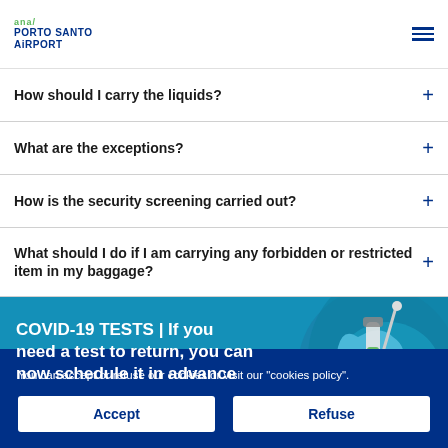ANA PORTO SANTO AIRPORT
How should I carry the liquids?
What are the exceptions?
How is the security screening carried out?
What should I do if I am carrying any forbidden or restricted item in my baggage?
[Figure (illustration): COVID-19 TESTS banner with teal background and medical test illustration. Text: COVID-19 TESTS | If you need a test to return, you can now schedule it in advance]
You can accept or refuse our cookies or visit our "cookies policy".
Accept
Refuse